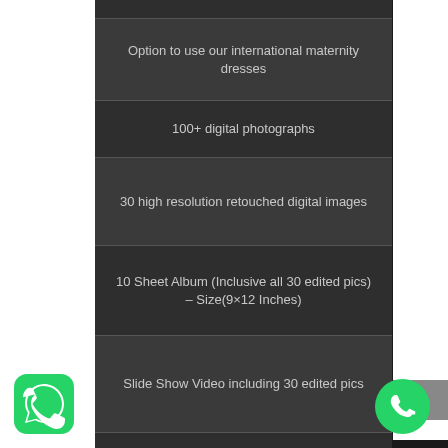Option to use our international maternity dresses
100+ digital photographs
30 high resolution retouched digital images
10 Sheet Album (Inclusive all 30 edited pics) – Size(9×12 Inches)
Slide Show Video including 30 edited pics
[Figure (logo): WhatsApp logo icon bottom left]
[Figure (logo): Green phone/call icon bottom right]